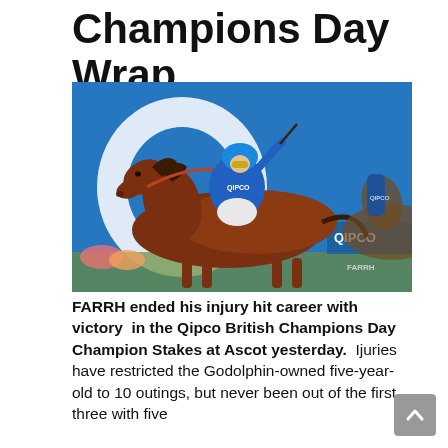Champions Day Wrap
[Figure (photo): A jockey in blue silks riding a chestnut racehorse at speed on a racecourse, with a blue background showing the Qipco logo. The horse is FARRH.]
FARRH ended his injury hit career with victory in the Qipco British Champions Day Champion Stakes at Ascot yesterday. Ijuries have restricted the Godolphin-owned five-year-old to 10 outings, but never been out of the first three with five victories. He was the nation to Bell...